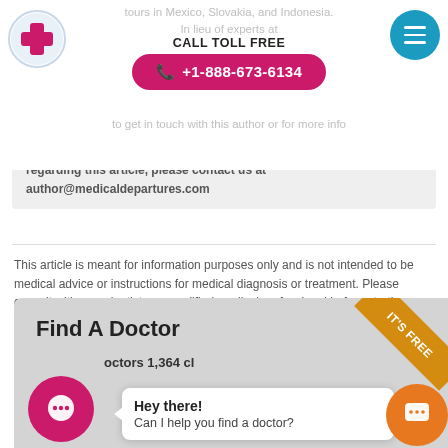CALL TOLL FREE +1-888-673-6134
regarding this article, please contact us at author@medicaldepartures.com
This article is meant for information purposes only and is not intended to be medical advice or instructions for medical diagnosis or treatment. Please consult with your dentist or a qualified medical professional before starting or changing medical treatment
[Figure (infographic): Find A Doctor card with IT'S FREE ribbon, pink chat icon, doctors count 1,364, speech bubble saying Hey there! Can I help you find a doctor?, and orange chat button]